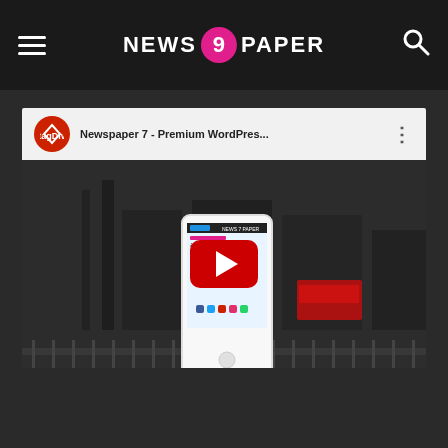NEWS 9 PAPER
[Figure (screenshot): YouTube video thumbnail for 'Newspaper 7 - Premium WordPres...' showing a smartphone with the Newspaper WordPress theme displayed on screen, set against a dark background of London's Westminster Bridge. A red YouTube play button is centered over the image. The top bar shows the tagDiv channel icon and the video title.]